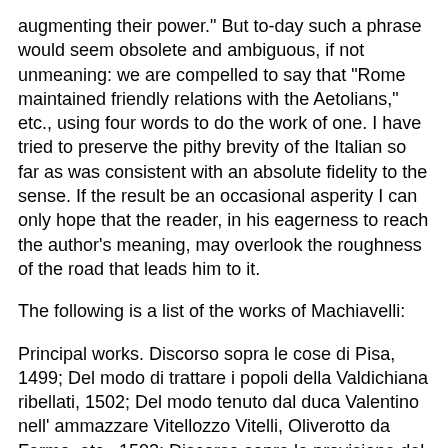augmenting their power." But to-day such a phrase would seem obsolete and ambiguous, if not unmeaning: we are compelled to say that "Rome maintained friendly relations with the Aetolians," etc., using four words to do the work of one. I have tried to preserve the pithy brevity of the Italian so far as was consistent with an absolute fidelity to the sense. If the result be an occasional asperity I can only hope that the reader, in his eagerness to reach the author's meaning, may overlook the roughness of the road that leads him to it.
The following is a list of the works of Machiavelli:
Principal works. Discorso sopra le cose di Pisa, 1499; Del modo di trattare i popoli della Valdichiana ribellati, 1502; Del modo tenuto dal duca Valentino nell' ammazzare Vitellozzo Vitelli, Oliverotto da Fermo, etc., 1502; Discorso sopra la provisione del danaro, 1502; Decennale primo (poem in terza rima), 1506; Ritratti delle cose dell' Alemagna, 1508-12; Decennale secondo, 1509; Ritratti delle cose di Francia, 1510; Discorsi sopra la prima deca di T. Livio, 3 vols., 1512-17; Il Principe, 1513; Asino d'oro; (translated from Terpander), 1513 (?)